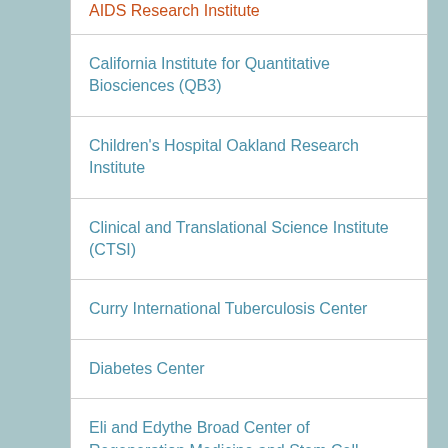AIDS Research Institute
California Institute for Quantitative Biosciences (QB3)
Children's Hospital Oakland Research Institute
Clinical and Translational Science Institute (CTSI)
Curry International Tuberculosis Center
Diabetes Center
Eli and Edythe Broad Center of Regeneration Medicine and Stem Cell Research
Francis I. Proctor Foundation for Research in Ophthalmology